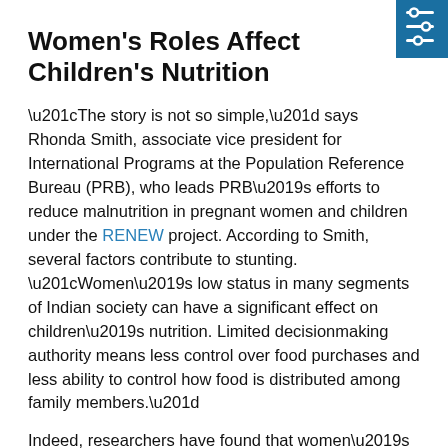Women's Roles Affect Children's Nutrition
“The story is not so simple,” says Rhonda Smith, associate vice president for International Programs at the Population Reference Bureau (PRB), who leads PRB’s efforts to reduce malnutrition in pregnant women and children under the RENEW project. According to Smith, several factors contribute to stunting. “Women’s low status in many segments of Indian society can have a significant effect on children’s nutrition. Limited decisionmaking authority means less control over food purchases and less ability to control how food is distributed among family members.”
Indeed, researchers have found that women’s relative bargaining power within the household determined how resources are directed to support feeding practices, prenatal and birthing care, and treatment for illness and immunizations.⁵ In India, studies found that a